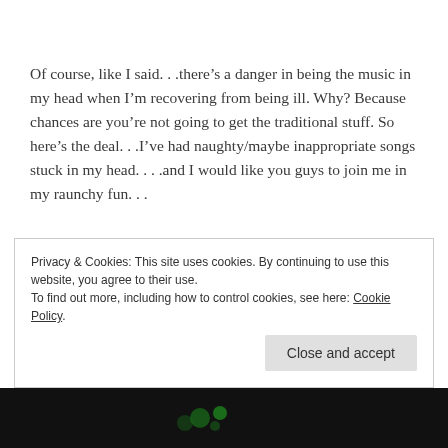Of course, like I said. . .there's a danger in being the music in my head when I'm recovering from being ill. Why? Because chances are you're not going to get the traditional stuff. So here's the deal. . .I've had naughty/maybe inappropriate songs stuck in my head. . . .and I would like you guys to join me in my raunchy fun. . .
They think the love of Big Butts started with Sir Mix-A-Lot. I beg to differ. I've always loved this Queen song. . .and even more so when my boy Puck from Glee re-did it. . . "Fat
Privacy & Cookies: This site uses cookies. By continuing to use this website, you agree to their use.
To find out more, including how to control cookies, see here: Cookie Policy